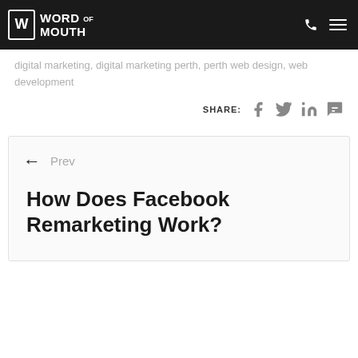WORD OF MOUTH
digital marketing, digital marketing perth, perth web design, web development
SHARE:
How Does Facebook Remarketing Work?